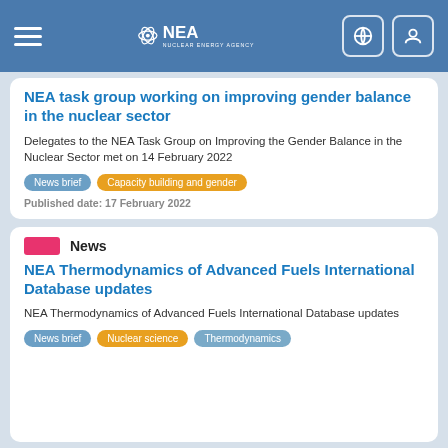NEA Nuclear Energy Agency
NEA task group working on improving gender balance in the nuclear sector
Delegates to the NEA Task Group on Improving the Gender Balance in the Nuclear Sector met on 14 February 2022
News brief | Capacity building and gender
Published date: 17 February 2022
News
NEA Thermodynamics of Advanced Fuels International Database updates
NEA Thermodynamics of Advanced Fuels International Database updates
News brief | Nuclear science | Thermodynamics